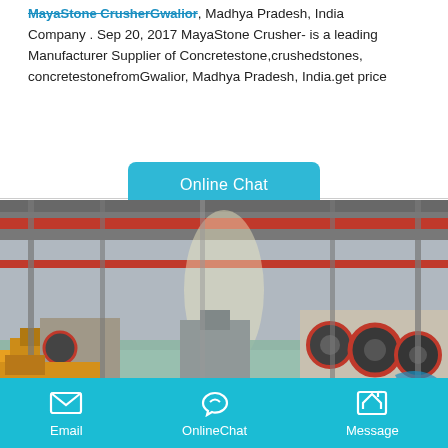MayaStoneCrusherGwalior, Madhya Pradesh, India Company . Sep 20, 2017 MayaStone Crusher- is a leading Manufacturer Supplier of Concretestone,crushedstones, concretestonefromGwalior, Madhya Pradesh, India.get price
[Figure (other): Online Chat button - teal/cyan rounded rectangle button with white text]
[Figure (photo): Factory interior photograph showing large industrial manufacturing facility with red overhead cranes, steel structure, and rows of crushing machinery (jaw crushers and other equipment) on the factory floor]
Email   OnlineChat   Message